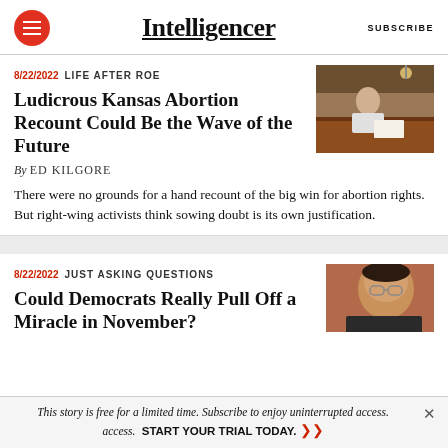Intelligencer | SUBSCRIBE
8/22/2022 LIFE AFTER ROE
Ludicrous Kansas Abortion Recount Could Be the Wave of the Future
By ED KILGORE
[Figure (photo): Person sitting at a table in a room with wood paneling, appearing to review documents]
There were no grounds for a hand recount of the big win for abortion rights. But right-wing activists think sowing doubt is its own justification.
8/22/2022 JUST ASKING QUESTIONS
Could Democrats Really Pull Off a Miracle in November?
[Figure (photo): Close-up of a person wearing glasses]
This story is free for a limited time. Subscribe to enjoy uninterrupted access. START YOUR TRIAL TODAY.